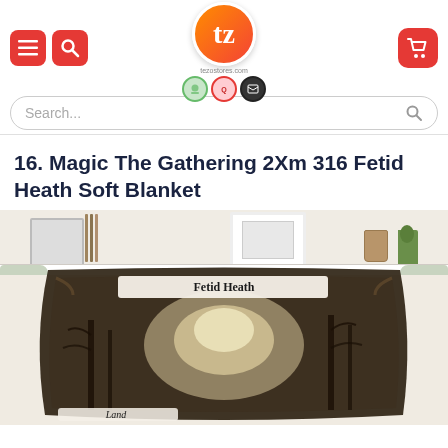[Figure (screenshot): E-commerce website header with navigation icons (hamburger menu and search in red rounded squares on left), orange/red circular logo with 'tz' letter in center with quality badges below, and red cart button on right]
[Figure (screenshot): Search bar with placeholder text 'Search...' and magnifying glass icon, rounded pill shape with border]
16. Magic The Gathering 2Xm 316 Fetid Heath Soft Blanket
[Figure (photo): Product photo of a soft blanket with Magic The Gathering 'Fetid Heath' card art printed on it, showing a dark misty forest scene with text 'Fetid Heath' at top and 'Land' at bottom, draped over a light green/cream sofa with bookshelf in background]